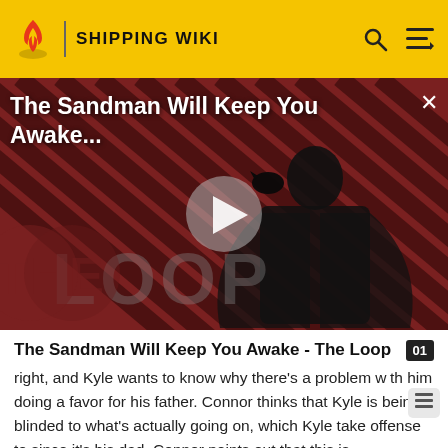SHIPPING WIKI
[Figure (screenshot): Video thumbnail showing a dark-cloaked figure (Sandman character) against a red and black diagonal striped background with 'THE LOOP' logo watermark and a play button overlay. Title overlay reads 'The Sandman Will Keep You Awake...']
The Sandman Will Keep You Awake - The Loop
right, and Kyle wants to know why there's a problem with him doing a favor for his father. Connor thinks that Kyle is being blinded to what's actually going on, which Kyle take offense to since it's his dad. Connor points out that this is